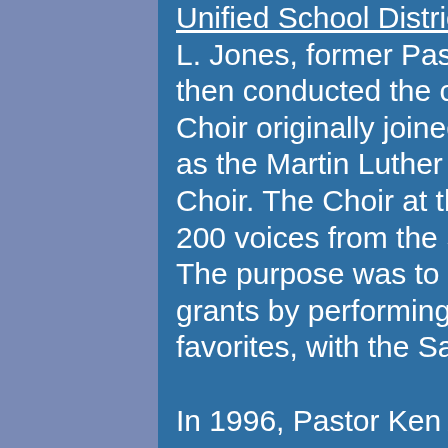Unified School District, now retired. The Rev. Glenn L. Jones, former Pastor of Mt. Sinai Baptist Church then conducted the choir for the next five years. The Choir originally joined together to perform annually as the Martin Luther King, Jr. Commemorative Choir. The Choir at that time featured approximately 200 voices from the San Diego County community. The purpose was to raise funds for scholarship grants by performing musical tributes of gospel favorites, with the San Diego Symphony.

In 1996, Pastor Ken Anderson,